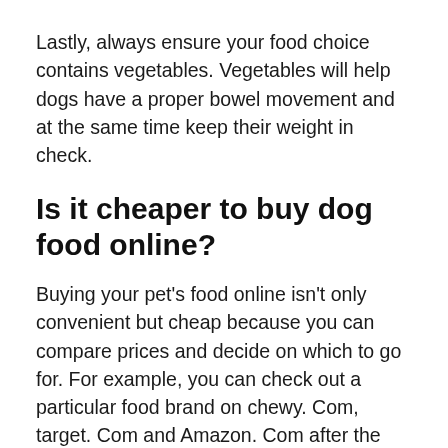Lastly, always ensure your food choice contains vegetables. Vegetables will help dogs have a proper bowel movement and at the same time keep their weight in check.
Is it cheaper to buy dog food online?
Buying your pet's food online isn't only convenient but cheap because you can compare prices and decide on which to go for. For example, you can check out a particular food brand on chewy. Com, target. Com and Amazon. Com after the survey you can decide which has the best price and quality. This isn't the same for stores. It isn't easy to visit three stores to compare prices.